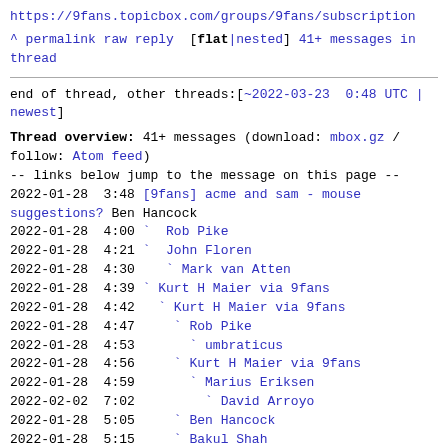https://9fans.topicbox.com/groups/9fans/subscription
^ permalink raw reply  [flat|nested] 41+ messages in thread
end of thread, other threads:[~2022-03-23  0:48 UTC | newest]
Thread overview: 41+ messages (download: mbox.gz / follow: Atom feed)
-- links below jump to the message on this page --
2022-01-28  3:48 [9fans] acme and sam - mouse suggestions? Ben Hancock
2022-01-28  4:00 ` Rob Pike
2022-01-28  4:21 ` John Floren
2022-01-28  4:30   ` Mark van Atten
2022-01-28  4:39 ` Kurt H Maier via 9fans
2022-01-28  4:42   ` Kurt H Maier via 9fans
2022-01-28  4:47     ` Rob Pike
2022-01-28  4:53       ` umbraticus
2022-01-28  4:56     ` Kurt H Maier via 9fans
2022-01-28  4:59       ` Marius Eriksen
2022-02-02  7:02         ` David Arroyo
2022-01-28  5:05     ` Ben Hancock
2022-01-28  5:15     ` Bakul Shah
2022-01-28  5:38       ` Rob Pike
2022-01-28  6:08         ` adr
2022-01-28  7:14           ` umbraticus
2022-01-28  7:48             ` sirjofri